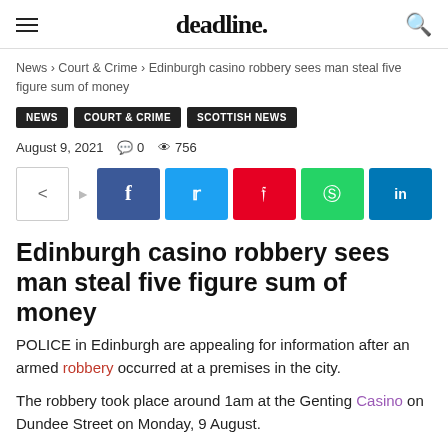deadline.
News › Court & Crime › Edinburgh casino robbery sees man steal five figure sum of money
NEWS   COURT & CRIME   SCOTTISH NEWS
August 9, 2021   0   756
[Figure (other): Social share buttons row: share icon, arrow, Facebook, Twitter, Pinterest, WhatsApp, LinkedIn]
Edinburgh casino robbery sees man steal five figure sum of money
POLICE in Edinburgh are appealing for information after an armed robbery occurred at a premises in the city.
The robbery took place around 1am at the Genting Casino on Dundee Street on Monday, 9 August.